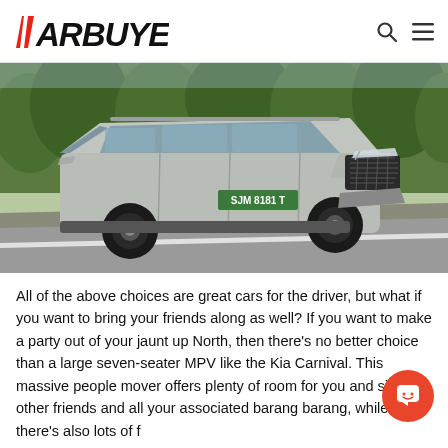CARBUYER
[Figure (photo): A silver/grey Kia Carnival MPV driving on a road, licence plate SJM 8181 T, surrounded by green trees]
All of the above choices are great cars for the driver, but what if you want to bring your friends along as well? If you want to make a party out of your jaunt up North, then there's no better choice than a large seven-seater MPV like the Kia Carnival. This massive people mover offers plenty of room for you and six other friends and all your associated barang barang, while there's also lots of great features like a sliding...